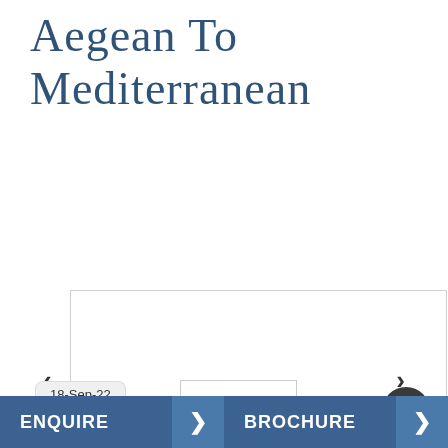Aegean To Mediterranean
[Figure (other): Slideshow image carousel area with left and right navigation arrows and pagination dots below]
18-Sep-22
[Figure (screenshot): Lower UI panel with an inner white box and a dark circular up-arrow button]
ENQUIRE
BROCHURE